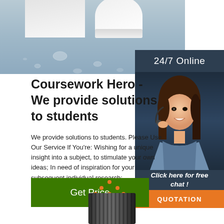[Figure (photo): Top banner photo showing white mugs/containers on a blue-grey wet surface with water droplets]
24/7 Online
[Figure (photo): Woman with headset smiling, customer support representative, overlaid on dark blue background]
Coursework Hero - We provide solutions to students
We provide solutions to students. Please Use Our Service If You're: Wishing for a unique insight into a subject, to stimulate your own ideas; In need of inspiration for your subsequent individual research;
Click here for free chat !
QUOTATION
Get Price
[Figure (logo): Orange TOP logo with dot pattern forming a triangle above the word TOP]
[Figure (photo): Bottom portion of a dark cylindrical object, partially visible]